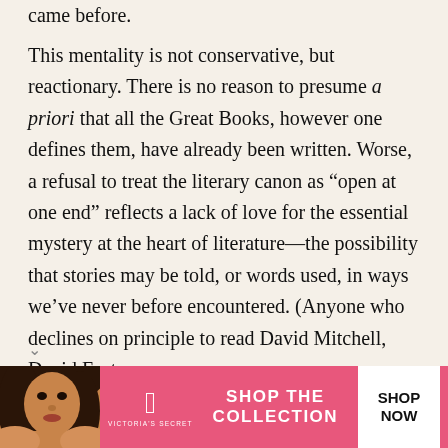came before.
This mentality is not conservative, but reactionary. There is no reason to presume a priori that all the Great Books, however one defines them, have already been written. Worse, a refusal to treat the literary canon as “open at one end” reflects a lack of love for the essential mystery at the heart of literature—the possibility that stories may be told, or words used, in ways we’ve never before encountered. (Anyone who declines on principle to read David Mitchell, David Foster
[Figure (other): Victoria's Secret advertisement banner with model photo, VS logo, 'SHOP THE COLLECTION' text, and 'SHOP NOW' button]